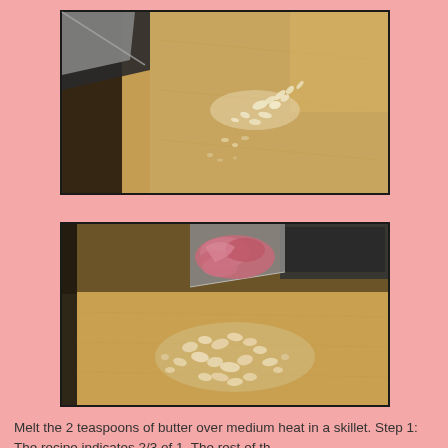[Figure (photo): Photo of minced garlic on a wooden cutting board with a knife visible in the top left corner]
[Figure (photo): Photo of chopped onion and garlic on a wooden cutting board with a knife cutting pink/red onion in the upper portion]
Melt the 2 teaspoons of butter over medium heat in a skillet. Step 1: The recipe indicates 2/3 of 1. The rest of th...